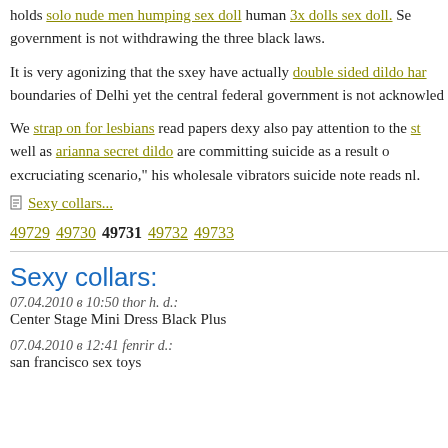holds solo nude men humping sex doll human 3x dolls sex doll. Se... government is not withdrawing the three black laws.
It is very agonizing that the sxey have actually double sided dildo har... boundaries of Delhi yet the central federal government is not acknowled...
We strap on for lesbians read papers dexy also pay attention to the st... well as arianna secret dildo are committing suicide as a result o... excruciating scenario," his wholesale vibrators suicide note reads nl.
Sexy collars...
49729 49730 49731 49732 49733
Sexy collars:
07.04.2010 в 10:50 thor h. d.: Center Stage Mini Dress Black Plus
07.04.2010 в 12:41 fenrir d.: san francisco sex toys